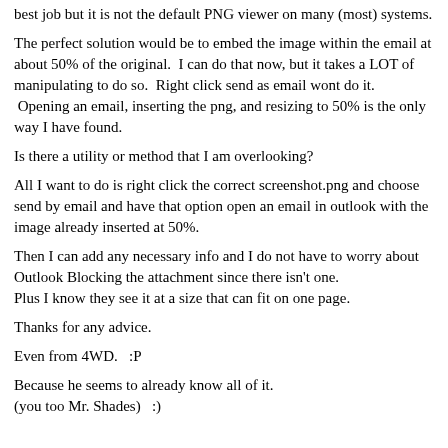best job but it is not the default PNG viewer on many (most) systems.
The perfect solution would be to embed the image within the email at about 50% of the original.  I can do that now, but it takes a LOT of manipulating to do so.  Right click send as email wont do it.  Opening an email, inserting the png, and resizing to 50% is the only way I have found.
Is there a utility or method that I am overlooking?
All I want to do is right click the correct screenshot.png and choose send by email and have that option open an email in outlook with the image already inserted at 50%.
Then I can add any necessary info and I do not have to worry about Outlook Blocking the attachment since there isn't one.
Plus I know they see it at a size that can fit on one page.
Thanks for any advice.
Even from 4WD.   :P
Because he seems to already know all of it.
(you too Mr. Shades)   :)